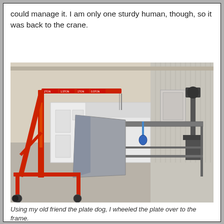could manage it. I am only one sturdy human, though, so it was back to the crane.
[Figure (photo): Workshop photo showing a red engine hoist/crane next to a metal workbench with a large gray plate leaning against it. In the background are white storage cabinets and a drill press. The floor is concrete.]
Using my old friend the plate dog, I wheeled the plate over to the frame.